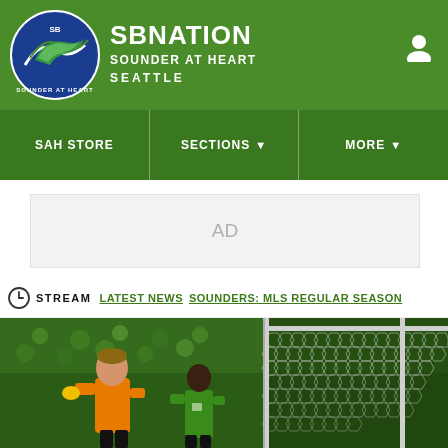SBNation — Sounder at Heart — Seattle
[Figure (logo): SB Nation Sounder at Heart circular logo with soccer ball and wave design]
SBNATION
SOUNDER AT HEART
SEATTLE
SAH STORE
SECTIONS ▾
MORE ▾
[Figure (other): AD placeholder box]
STREAM  LATEST NEWS  SOUNDERS: MLS REGULAR SEASON
[Figure (photo): Soccer match photo showing goalkeeper in orange jersey and player in green Sounders jersey near goal net, crowd in background]